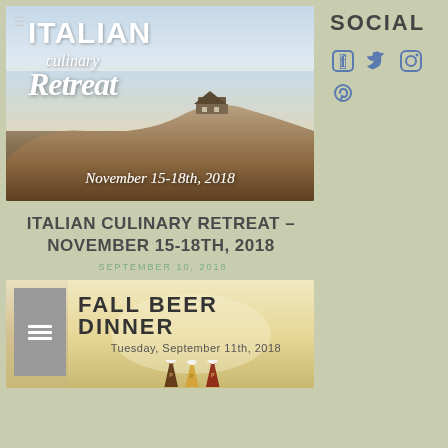[Figure (photo): Italian Culinary Retreat banner image with hilltop house and text overlay reading ITALIAN culinary Retreat, November 15-18th, 2018]
ITALIAN CULINARY RETREAT – NOVEMBER 15-18TH, 2018
SEPTEMBER 10, 2018
[Figure (photo): Fall Beer Dinner promotional banner with beer glasses, text: FALL BEER DINNER, Tuesday, September 11th, 2018]
SOCIAL
[Figure (infographic): Social media icons: Facebook, Twitter, Instagram, Pinterest]